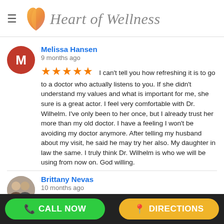Heart of Wellness
Melissa Hansen
9 months ago
★★★★★ I can't tell you how refreshing it is to go to a doctor who actually listens to you. If she didn't understand my values and what is important for me, she sure is a great actor. I feel very comfortable with Dr. Wilhelm. I've only been to her once, but I already trust her more than my old doctor. I have a feeling I won't be avoiding my doctor anymore. After telling my husband about my visit, he said he may try her also. My daughter in law the same. I truly think Dr. Wilhelm is who we will be using from now on. God willing.
Brittany Nevas
10 months ago
★★★★★ Everyone at this clinic is absolutely
CALL NOW    DIRECTIONS